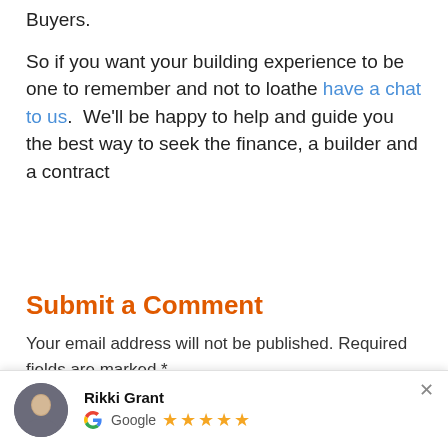this rings particularly true for First Home Buyers.
So if you want your building experience to be one to remember and not to loathe have a chat to us.  We'll be happy to help and guide you the best way to seek the finance, a builder and a contract
Submit a Comment
Your email address will not be published. Required fields are marked *
[Figure (other): Google review widget showing reviewer Rikki Grant with 5-star rating and Google logo]